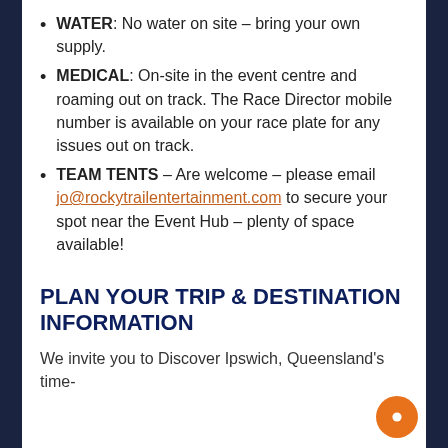WATER: No water on site – bring your own supply.
MEDICAL: On-site in the event centre and roaming out on track. The Race Director mobile number is available on your race plate for any issues out on track.
TEAM TENTS – Are welcome – please email jo@rockytrailentertainment.com to secure your spot near the Event Hub – plenty of space available!
PLAN YOUR TRIP & DESTINATION INFORMATION
We invite you to Discover Ipswich, Queensland's time-